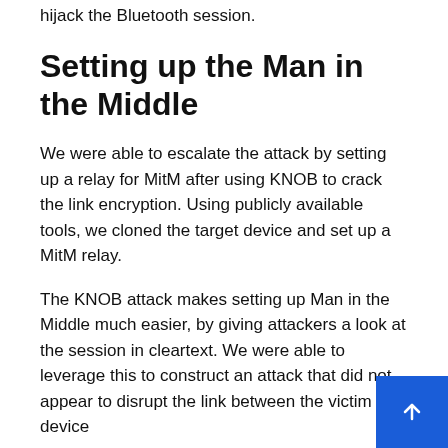hijack the Bluetooth session.
Setting up the Man in the Middle
We were able to escalate the attack by setting up a relay for MitM after using KNOB to crack the link encryption. Using publicly available tools, we cloned the target device and set up a MitM relay.
The KNOB attack makes setting up Man in the Middle much easier, by giving attackers a look at the session in cleartext. We were able to leverage this to construct an attack that did not appear to disrupt the link between the victim and device
With the relay complete and Bluetooth